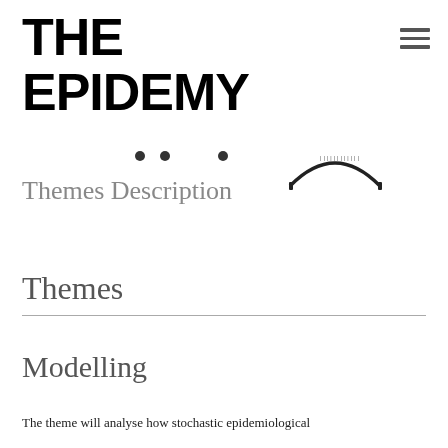THE EPIDEMY
[Figure (other): Hamburger menu icon (three horizontal lines)]
[Figure (other): Navigation dots and arch/bridge illustration]
Themes Description
Themes
Modelling
The theme will analyse how stochastic epidemiological